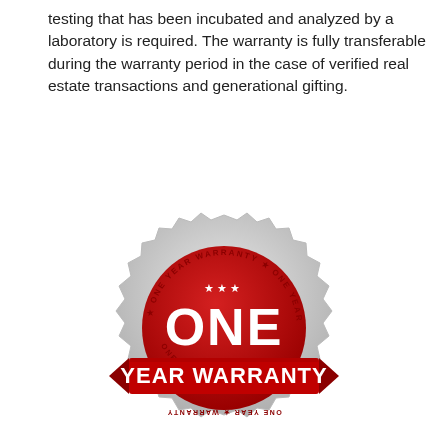testing that has been incubated and analyzed by a laboratory is required. The warranty is fully transferable during the warranty period in the case of verified real estate transactions and generational gifting.
[Figure (illustration): A red and silver 'ONE YEAR WARRANTY' badge/seal with zigzag edge, red ribbon banner, stars, and circular text reading 'ONE YEAR WARRANTY' around the border.]